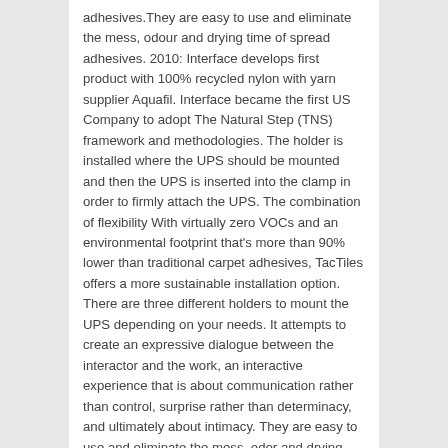adhesives.They are easy to use and eliminate the mess, odour and drying time of spread adhesives. 2010: Interface develops first product with 100% recycled nylon with yarn supplier Aquafil. Interface became the first US Company to adopt The Natural Step (TNS) framework and methodologies. The holder is installed where the UPS should be mounted and then the UPS is inserted into the clamp in order to firmly attach the UPS. The combination of flexibility With virtually zero VOCs and an environmental footprint that's more than 90% lower than traditional carpet adhesives, TacTiles offers a more sustainable installation option. There are three different holders to mount the UPS depending on your needs. It attempts to create an expressive dialogue between the interactor and the work, an interactive experience that is about communication rather than control, surprise rather than determinacy, and ultimately about intimacy. They are easy to use and eliminate the mess, odor and drying time of spread adhesives. This stretchable energy-harvesting tactile interface relies on triboelectric nanogenerator composed of a galinstan LM-NP-based stretchable electrode and patterned elastic polymer friction and encapsulation layer.